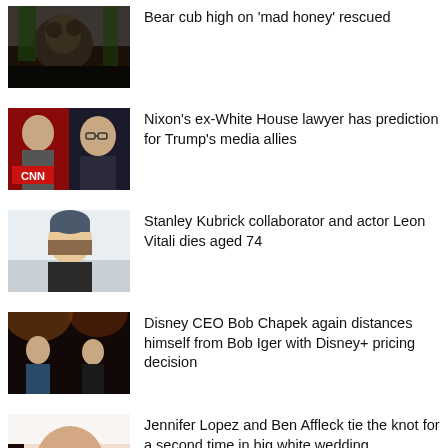Bear cub high on 'mad honey' rescued
Nixon's ex-White House lawyer has prediction for Trump's media allies
Stanley Kubrick collaborator and actor Leon Vitali dies aged 74
Disney CEO Bob Chapek again distances himself from Bob Iger with Disney+ pricing decision
Jennifer Lopez and Ben Affleck tie the knot for a second time in big white wedding